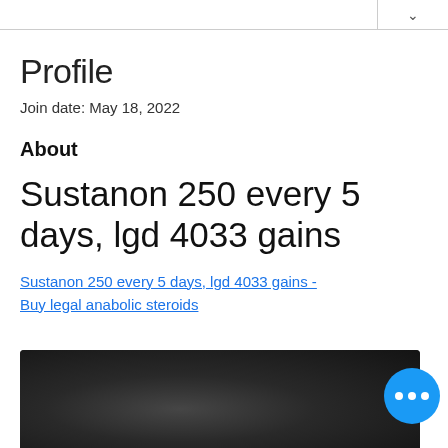Profile
Join date: May 18, 2022
About
Sustanon 250 every 5 days, lgd 4033 gains
Sustanon 250 every 5 days, lgd 4033 gains - Buy legal anabolic steroids
[Figure (photo): Blurred dark image at bottom of page]